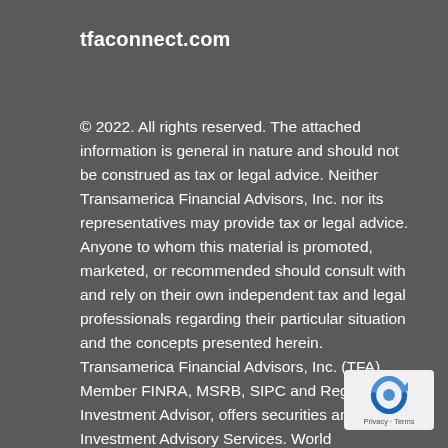tfaconnect.com
© 2022. All rights reserved. The attached information is general in nature and should not be construed as tax or legal advice. Neither Transamerica Financial Advisors, Inc. nor its representatives may provide tax or legal advice. Anyone to whom this material is promoted, marketed, or recommended should consult with and rely on their own independent tax and legal professionals regarding their particular situation and the concepts presented herein. Transamerica Financial Advisors, Inc. (TFA), Member FINRA, MSRB, SIPC and Registered Investment Advisor, offers securities and Investment Advisory Services. World
[Figure (logo): reCAPTCHA badge with blue recaptcha icon and 'Privacy - Terms' text on white rounded rectangle background]